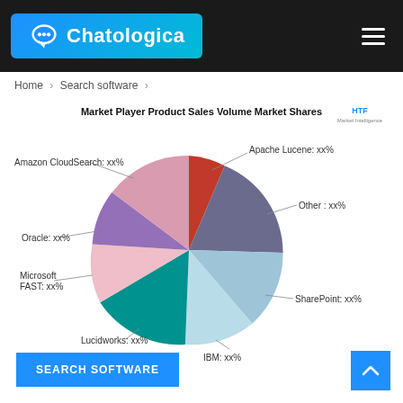Chatologica
Home > Search software >
[Figure (pie-chart): Market Player Product Sales Volume Market Shares]
SEARCH SOFTWARE